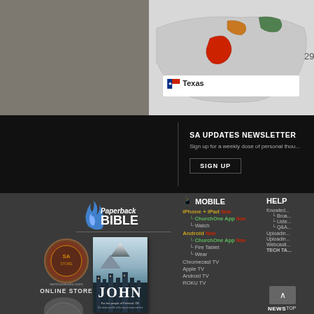[Figure (map): Partial map of USA with Texas highlighted and labeled with Texas state flag]
SA UPDATES NEWSLETTER
Sign up for a weekly dose of personal thou...
SIGN UP
[Figure (logo): Paperback Bible logo with blue flame and stylized text]
[Figure (logo): SermonAudio Online Store circular logo]
[Figure (photo): Book cover for JOHN with mountain and city landscape]
ONLINE STORE
MOBILE
iPhone + iPad New
ChurchOne App New
Watch
Android New
ChurchOne App New
Fire Tablet
Wear
Chromecast TV
Apple TV
Android TV
ROKU TV
HELP
Knowledge...
Broa...
Liste...
Q&A...
Uploadin...
Uploadin...
Webcasti...
TECH TA...
NEWS
TOP